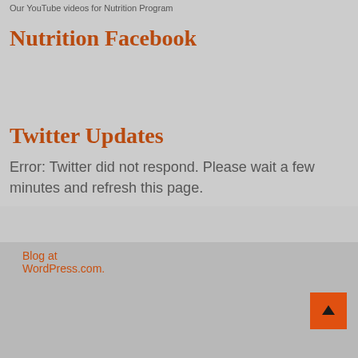Our YouTube videos for Nutrition Program
Nutrition Facebook
Twitter Updates
Error: Twitter did not respond. Please wait a few minutes and refresh this page.
Blog at WordPress.com.